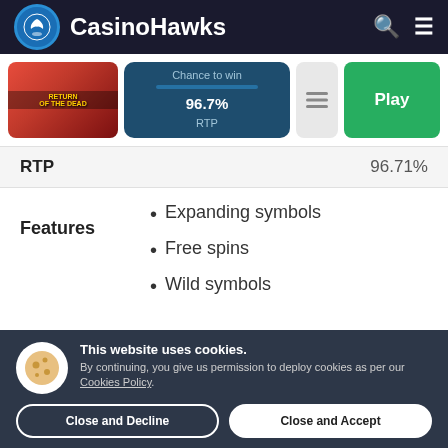CasinoHawks
[Figure (screenshot): Game thumbnail for Return of the Dead slot with fire and action imagery]
Chance to win  96.7% RTP
| RTP | 96.71% |
| --- | --- |
Expanding symbols
Free spins
Wild symbols
This website uses cookies. By continuing, you give us permission to deploy cookies as per our Cookies Policy.
Close and Decline
Close and Accept